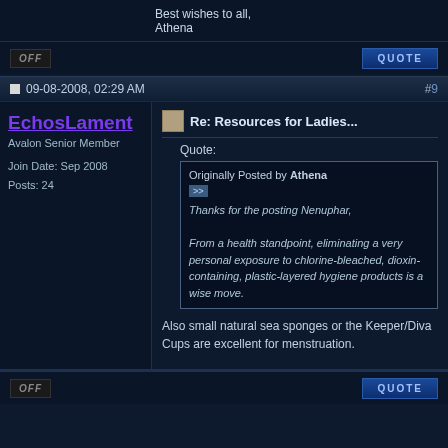Best wishes to all,
Athena
09-08-2008, 02:29 AM  #9
EchosLament
Avalon Senior Member
Join Date: Sep 2008
Posts: 24
Re: Resources for Ladies...
Quote:
Originally Posted by Athena
Thanks for the posting Nenuphar,

From a health standpoint, eliminating a very personal exposure to chlorine-bleached, dioxin-containing, plastic-layered hygiene products is a wise move.
Also small natural sea sponges or the Keeper/Diva Cups are excellent for menstruation.